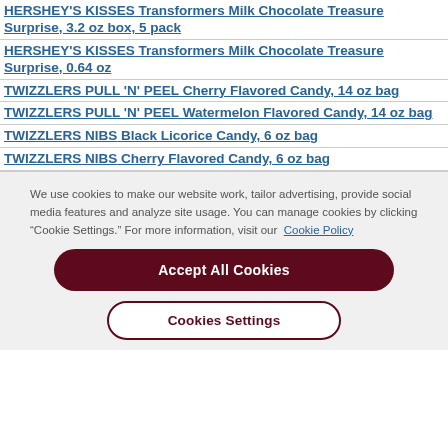HERSHEY'S KISSES Transformers Milk Chocolate Treasure Surprise, 3.2 oz box, 5 pack
HERSHEY'S KISSES Transformers Milk Chocolate Treasure Surprise, 0.64 oz
TWIZZLERS PULL 'N' PEEL Cherry Flavored Candy, 14 oz bag
TWIZZLERS PULL 'N' PEEL Watermelon Flavored Candy, 14 oz bag
TWIZZLERS NIBS Black Licorice Candy, 6 oz bag
TWIZZLERS NIBS Cherry Flavored Candy, 6 oz bag
We use cookies to make our website work, tailor advertising, provide social media features and analyze site usage. You can manage cookies by clicking “Cookie Settings.” For more information, visit our  Cookie Policy
Accept All Cookies
Cookies Settings